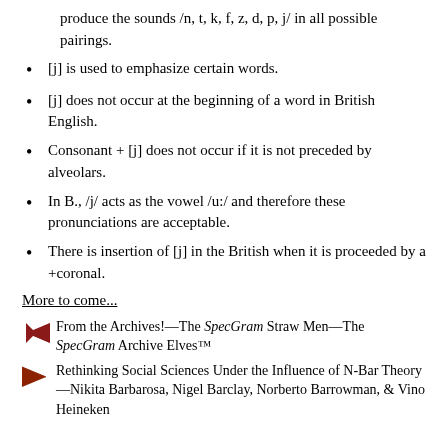produce the sounds /n, t, k, f, z, d, p, j/ in all possible pairings.
[j] is used to emphasize certain words.
[j] does not occur at the beginning of a word in British English.
Consonant + [j] does not occur if it is not preceded by alveolars.
In B., /j/ acts as the vowel /u:/ and therefore these pronunciations are acceptable.
There is insertion of [j] in the British when it is proceeded by a +coronal.
More to come...
From the Archives!—The SpecGram Straw Men—The SpecGram Archive Elves™
Rethinking Social Sciences Under the Influence of N-Bar Theory—Nikita Barbarosa, Nigel Barclay, Norberto Barrowman, & Vino Heineken